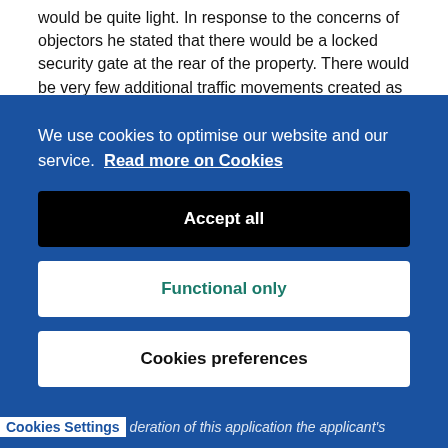would be quite light. In response to the concerns of objectors he stated that there would be a locked security gate at the rear of the property. There would be very few additional traffic movements created as most visitors would live locally and walk. Methadone would be
We use cookies to optimise our website and our service. Read more on Cookies
Accept all
Functional only
Cookies preferences
Cookies Settings  deration of this application the applicant's